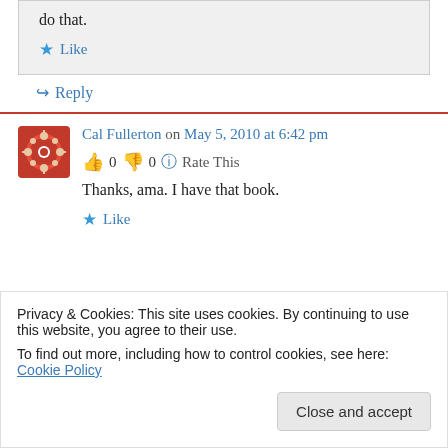do that.
★ Like
↪ Reply
Cal Fullerton on May 5, 2010 at 6:42 pm
👍 0 👎 0 ℹ Rate This
Thanks, ama. I have that book.
★ Like
Privacy & Cookies: This site uses cookies. By continuing to use this website, you agree to their use. To find out more, including how to control cookies, see here: Cookie Policy
Close and accept